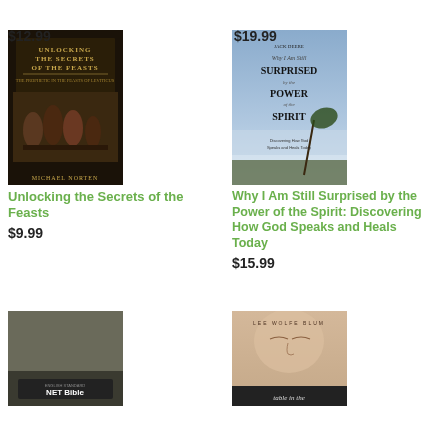$12.99
$19.99
[Figure (photo): Book cover: Unlocking the Secrets of the Feasts by Michael Norten - dark background with historical painting of people at a feast]
Unlocking the Secrets of the Feasts
$9.99
[Figure (photo): Book cover: Why I Am Still Surprised by the Power of the Spirit by Jack Deere - blue sky with bent tree]
Why I Am Still Surprised by the Power of the Spirit: Discovering How God Speaks and Heals Today
$15.99
[Figure (photo): Book cover: NET Bible - dark gray/olive cover with NET Bible text at bottom]
[Figure (photo): Book cover: Table in the... by Lee Wolfe Blum - close up of woman's face]